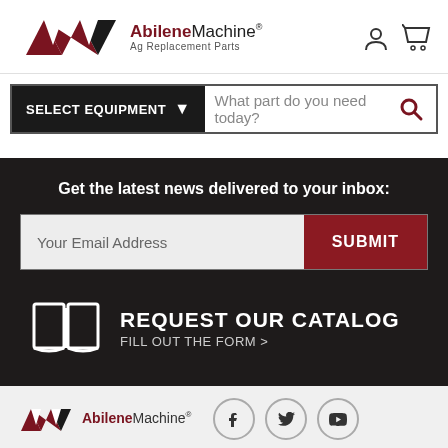[Figure (logo): Abilene Machine logo with AM triangles in dark red and text 'AbileneMachine Ag Replacement Parts']
[Figure (screenshot): User account icon and shopping cart icon in top right of header]
[Figure (screenshot): SELECT EQUIPMENT dropdown button and search bar with placeholder 'What part do you need today?' and search icon]
Get the latest news delivered to your inbox:
[Figure (screenshot): Email input field with placeholder 'Your Email Address' and dark red SUBMIT button]
[Figure (screenshot): Open book icon with text REQUEST OUR CATALOG and FILL OUT THE FORM >]
[Figure (logo): Footer Abilene Machine logo with social media icons (Facebook, Twitter, YouTube)]